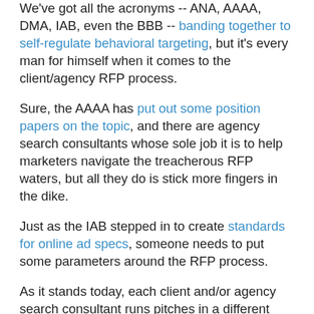We've got all the acronyms -- ANA, AAAA, DMA, IAB, even the BBB -- banding together to self-regulate behavioral targeting, but it's every man for himself when it comes to the client/agency RFP process.
Sure, the AAAA has put out some position papers on the topic, and there are agency search consultants whose sole job it is to help marketers navigate the treacherous RFP waters, but all they do is stick more fingers in the dike.
Just as the IAB stepped in to create standards for online ad specs, someone needs to put some parameters around the RFP process.
As it stands today, each client and/or agency search consultant runs pitches in a different format -- RFIs, RFQs, RFPs -- oh my! And there's nothing worse from an agency standpoint then advancing through three rounds of scrutiny only to be pitted against competing firms in a real-time online auction to see who can offer the lowest rates.
2. Create third-party audited lists of agency size and